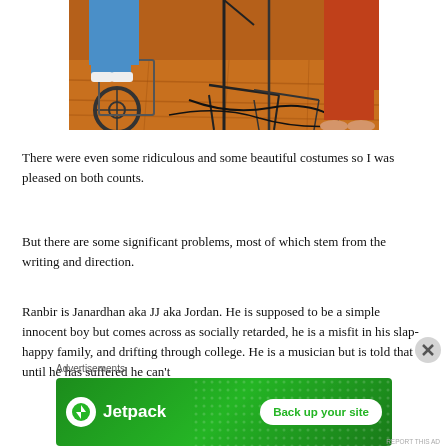[Figure (photo): Bottom portion of performers on stage: one person in blue pants seated in a wheelchair, another in red/orange pants standing barefoot, with microphone stands and cables on a wooden floor]
There were even some ridiculous and some beautiful costumes so I was pleased on both counts.
But there are some significant problems, most of which stem from the writing and direction.
Ranbir is Janardhan aka JJ aka Jordan. He is supposed to be a simple innocent boy but comes across as socially retarded, he is a misfit in his slap-happy family, and drifting through college. He is a musician but is told that until he has suffered he can't
Advertisements
[Figure (screenshot): Jetpack advertisement banner: green background with Jetpack logo on left and 'Back up your site' button on right]